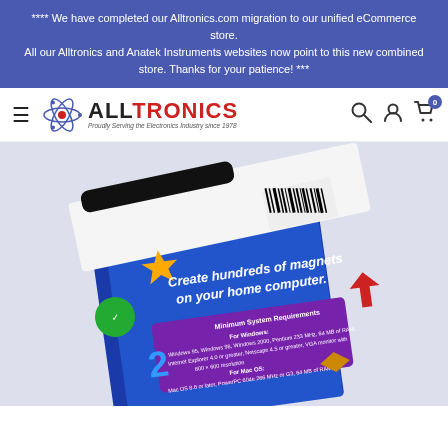**** We have completed our Alltronics.com migration to our unified eCommerce store. All our Alltronics and Anatek Instruments websites now point to this new combined store. Thanks for your patience! ***
[Figure (logo): Alltronics logo with atom icon and tagline 'Proudly Serving the Electronics Industry since 1978']
[Figure (photo): Product photo of a Create-A-Magnet System box showing its packaging with the tagline 'Create hundreds of magnets on your home computer.' and system requirements on the back.]